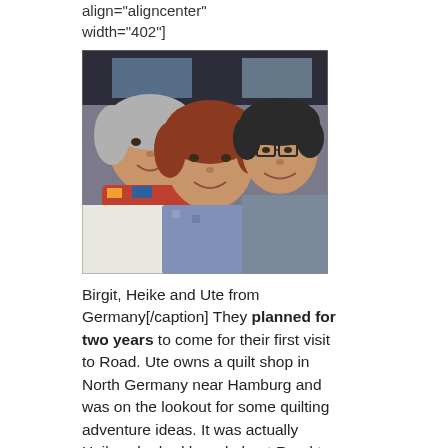align="aligncenter"
width="402"]
[Figure (photo): Three women smiling for a photo, appearing to be on a bus or train. The woman on the left has short gray hair and a colorful scarf. The woman in the middle has short reddish-brown hair. The woman on the right has short dark hair and glasses.]
Birgit, Heike and Ute from Germany[/caption]
They planned for two years to come for their first visit to Road. Ute owns a quilt shop in North Germany near Hamburg and was on the lookout for some quilting adventure ideas. It was actually Heike who had heard about Road to California and suggested it to the others. They made the most of every